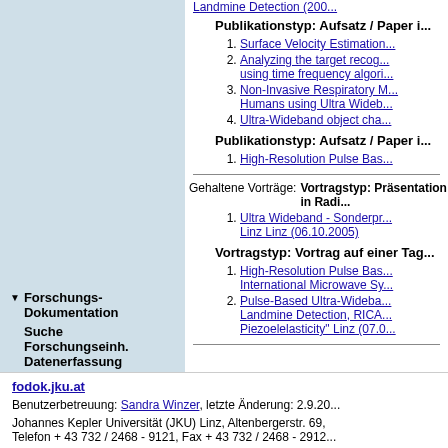Publikationstyp: Aufsatz / Paper i...
1. Surface Velocity Estimation...
2. Analyzing the target recog... using time frequency algori...
3. Non-Invasive Respiratory M... Humans using Ultra Wideb...
4. Ultra-Wideband object cha...
Publikationstyp: Aufsatz / Paper i...
1. High-Resolution Pulse Bas...
Gehaltene Vorträge:
Vortragstyp: Präsentation in Radi...
1. Ultra Wideband - Sonderpr... Linz Linz (06.10.2005)
Vortragstyp: Vortrag auf einer Tag...
1. High-Resolution Pulse Bas... International Microwave Sy...
2. Pulse-Based Ultra-Wideba... Landmine Detection, RICA... Piezoelelasticity" Linz (07.0...
Forschungs-Dokumentation
Suche
Forschungseinh.
Datenerfassung
fodok.jku.at
Benutzerbetreuung: Sandra Winzer, letzte Änderung: 2.9.20...
Johannes Kepler Universität (JKU) Linz, Altenbergerstr. 69, Telefon + 43 732 / 2468 - 9121, Fax + 43 732 / 2468 - 2912...